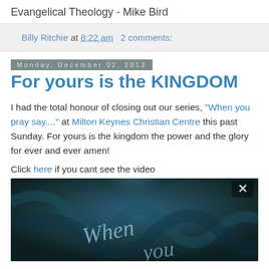Evangelical Theology - Mike Bird
Billy Ritchie at 8:22 am   2 comments:
Monday, December 02, 2013
For yours is the KINGDOM
I had the total honour of closing out our series, "When you pray say...." at Milton Keynes Christian Centre this past Sunday. For yours is the kingdom the power and the glory for ever and ever amen!
Click here if you cant see the video
[Figure (screenshot): Video thumbnail showing a dark blue artistic image with cursive text reading 'When you' visible, with an X close button in the top right corner.]